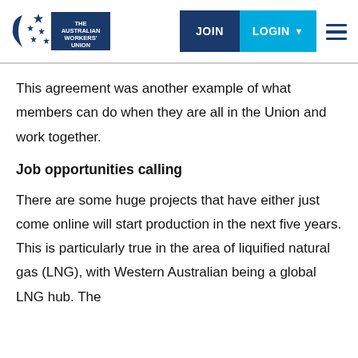[Figure (logo): The Australian Workers' Union logo with Southern Cross stars and crescent moon, beside blue rectangle with organization name text]
JOIN | LOGIN ▼ ≡
This agreement was another example of what members can do when they are all in the Union and work together.
Job opportunities calling
There are some huge projects that have either just come online will start production in the next five years. This is particularly true in the area of liquified natural gas (LNG), with Western Australian being a global LNG hub. The...